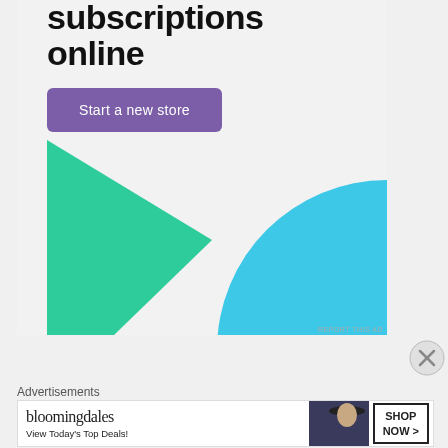[Figure (illustration): Advertisement banner with bold text 'Start selling subscriptions online', a purple 'Start a new store' button, a green arrow/triangle shape on the lower left, and a cyan quarter-circle shape on the lower right, on a light gray background.]
REPORT THIS AD
[Figure (other): Close button (circled X) for the advertisement]
Advertisements
[Figure (illustration): Bloomingdale's advertisement banner: 'bloomingdales' logo, 'View Today's Top Deals!' text, a woman in a hat, and 'SHOP NOW >' button]